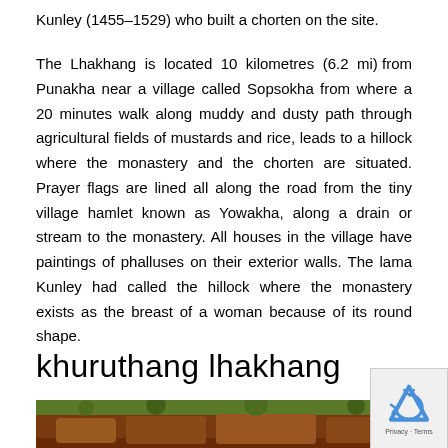Kunley (1455–1529) who built a chorten on the site.
The Lhakhang is located 10 kilometres (6.2 mi) from Punakha near a village called Sopsokha from where a 20 minutes walk along muddy and dusty path through agricultural fields of mustards and rice, leads to a hillock where the monastery and the chorten are situated. Prayer flags are lined all along the road from the tiny village hamlet known as Yowakha, along a drain or stream to the monastery. All houses in the village have paintings of phalluses on their exterior walls. The lama Kunley had called the hillock where the monastery exists as the breast of a woman because of its round shape.
khuruthang lhakhang
[Figure (photo): Partial view of a decorated monastery or temple structure with ornate architectural elements and foliage in background]